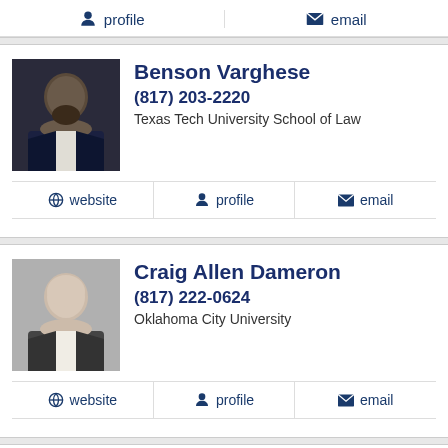profile  email
[Figure (photo): Headshot photo of Benson Varghese in dark suit]
Benson Varghese
(817) 203-2220
Texas Tech University School of Law
website  profile  email
[Figure (photo): Headshot photo of Craig Allen Dameron in suit]
Craig Allen Dameron
(817) 222-0624
Oklahoma City University
website  profile  email
Jeffrey Scott Hoover